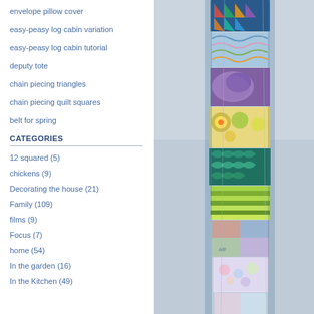envelope pillow cover
easy-peasy log cabin variation
easy-peasy log cabin tutorial
deputy tote
chain piecing triangles
chain piecing quilt squares
belt for spring
CATEGORIES
12 squared (5)
chickens (9)
Decorating the house (21)
Family (109)
films (9)
Focus (7)
home (54)
In the garden (16)
In the Kitchen (49)
[Figure (photo): A vertical strip of colorful patchwork quilt fabric pieces hanging against a blurred background, showing various patterns and colors including geometric shapes, florals, and abstract designs.]